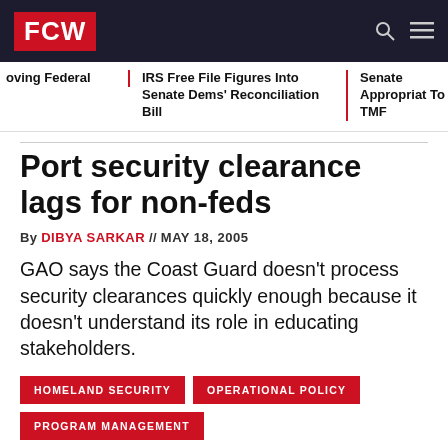FCW
oving Federal | IRS Free File Figures Into Senate Dems' Reconciliation Bill | Senate Appropriat To TMF
Port security clearance lags for non-feds
By DIBYA SARKAR // MAY 18, 2005
GAO says the Coast Guard doesn't process security clearances quickly enough because it doesn't understand its role in educating stakeholders.
HOMELAND SECURITY
OPERATIONAL POLICY
PROGRAM MANAGEMENT